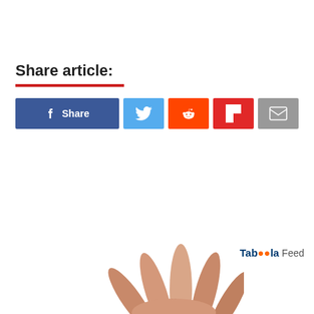Share article:
[Figure (infographic): Social share buttons: Facebook Share, Twitter, Reddit, Flipboard, Email]
Taboola Feed
[Figure (illustration): Hand waving illustration (skin-tone fingers spread), partially cropped at page bottom]